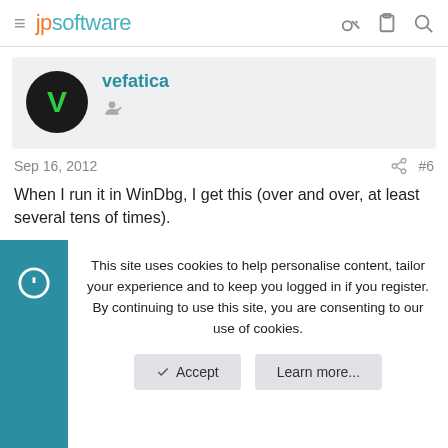jpsoftware
[Figure (screenshot): User avatar: black circle with green letter V, username vefatica in teal, user badge icon]
Sep 16, 2012  #6
When I run it in WinDbg, I get this (over and over, at least several tens of times).
Code:
0:000> g
(See 49s): Access violation - code c0000005 (first...
This site uses cookies to help personalise content, tailor your experience and to keep you logged in if you register.
By continuing to use this site, you are consenting to our use of cookies.